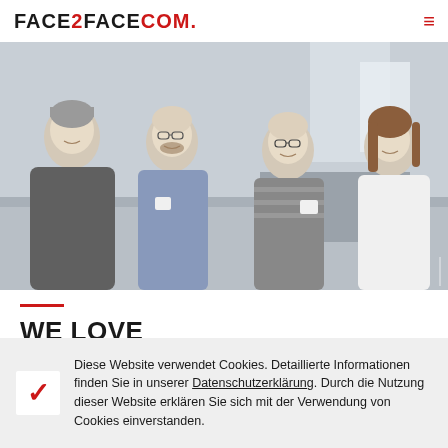FACE2FACECOM.
[Figure (photo): Four colleagues smiling and holding coffee mugs in an office setting. Three men and one woman, standing together casually.]
WE LOVE COMMUNICATION
Diese Website verwendet Cookies. Detaillierte Informationen finden Sie in unserer Datenschutzerklärung. Durch die Nutzung dieser Website erklären Sie sich mit der Verwendung von Cookies einverstanden.